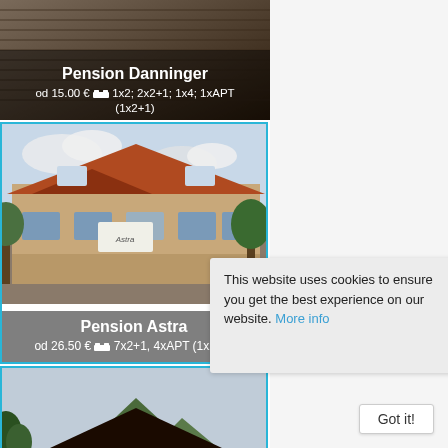[Figure (screenshot): Mobile app screenshot showing pension/accommodation listings with photos and pricing]
Pension Danninger
od 15.00 € 🛏 1x2; 2x2+1; 1x4; 1xAPT (1x2+1)
[Figure (photo): Photo of Pension Astra building with red tile roof]
Pension Astra
od 26.50 € 🛏 7x2+1, 4xAPT (1x2+1)
[Figure (photo): Photo of a pension building with dark wood facade and mountain in background]
Per
This website uses cookies to ensure you get the best experience on our website. More info
Got it!